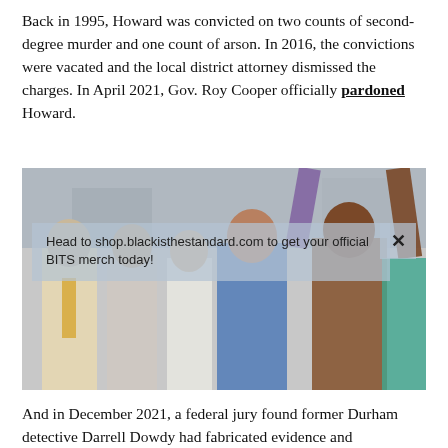Back in 1995, Howard was convicted on two counts of second-degree murder and one count of arson. In 2016, the convictions were vacated and the local district attorney dismissed the charges. In April 2021, Gov. Roy Cooper officially pardoned Howard.
[Figure (photo): A group of people celebrating outdoors, with one person raising their fist in the air. A semi-transparent overlay popup reads: 'Head to shop.blackisthestandard.com to get your official BITS merch today!' with an X close button.]
And in December 2021, a federal jury found former Durham detective Darrell Dowdy had fabricated evidence and